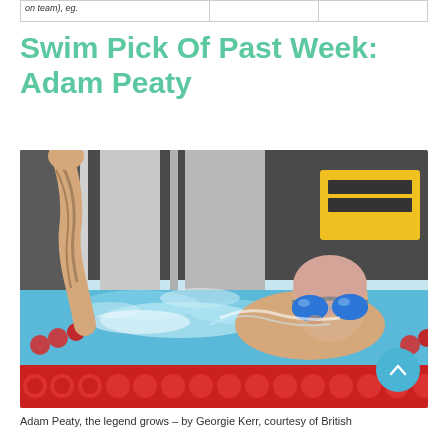| on team), eg. |  |  |
| --- | --- | --- |
|  |
Swim Pick Of Past Week: Adam Peaty
[Figure (photo): Adam Peaty, a swimmer with tattoos on his arm raised up, wearing blue mirrored goggles, visible in a swimming pool with red lane dividers and a yellow sponsor board in the background.]
Adam Peaty, the legend grows – by Georgie Kerr, courtesy of British